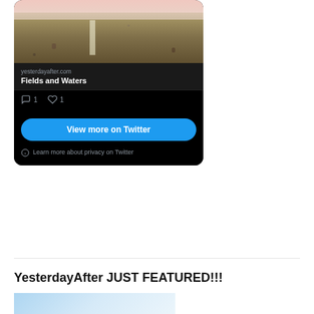[Figure (screenshot): Twitter/X embed card showing a watercolor landscape painting (fields and path with pink sky), link preview to yesterdayafter.com 'Fields and Waters', comment count 1 and like count 1, a blue 'View more on Twitter' button, and a privacy notice.]
yesterdayafter.com
Fields and Waters
1
1
View more on Twitter
Learn more about privacy on Twitter
YesterdayAfter JUST FEATURED!!!
[Figure (illustration): Partial image shown at bottom of page, light blue illustration partially visible]